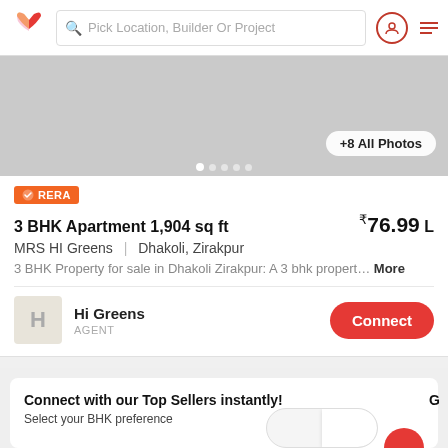Pick Location, Builder Or Project
[Figure (photo): Property image gallery area showing grey placeholder with +8 All Photos button and dot navigation indicators]
RERA
3 BHK Apartment 1,904 sq ft
₹76.99 L
MRS HI Greens | Dhakoli, Zirakpur
3 BHK Property for sale in Dhakoli Zirakpur: A 3 bhk propert… More
Hi Greens
AGENT
Connect
Connect with our Top Sellers instantly!
Select your BHK preference